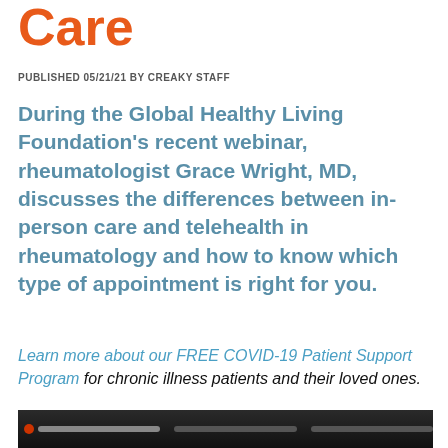Care
PUBLISHED 05/21/21 BY CREAKY STAFF
During the Global Healthy Living Foundation's recent webinar, rheumatologist Grace Wright, MD, discusses the differences between in-person care and telehealth in rheumatology and how to know which type of appointment is right for you.
Learn more about our FREE COVID-19 Patient Support Program for chronic illness patients and their loved ones.
[Figure (screenshot): Screenshot of a video webinar at the bottom of the page]